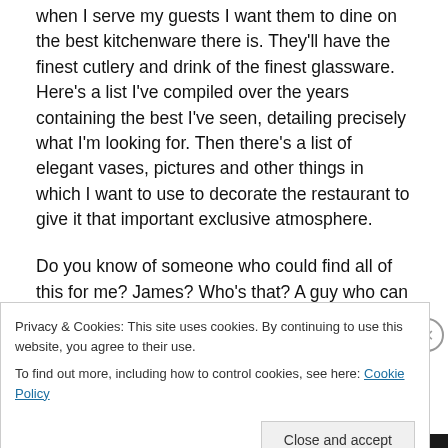when I serve my guests I want them to dine on the best kitchenware there is. They'll have the finest cutlery and drink of the finest glassware. Here's a list I've compiled over the years containing the best I've seen, detailing precisely what I'm looking for. Then there's a list of elegant vases, pictures and other things in which I want to use to decorate the restaurant to give it that important exclusive atmosphere.
Do you know of someone who could find all of this for me? James? Who's that? A guy who can fix most everything you say? Alright. He seems like the one to receive this
Privacy & Cookies: This site uses cookies. By continuing to use this website, you agree to their use.
To find out more, including how to control cookies, see here: Cookie Policy